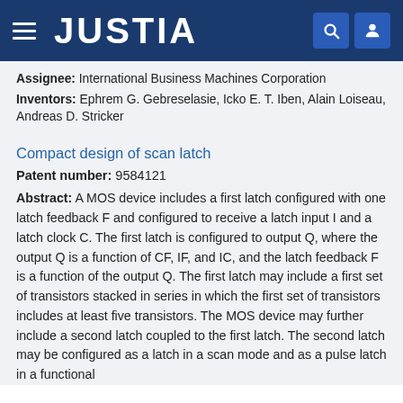JUSTIA
Assignee: International Business Machines Corporation
Inventors: Ephrem G. Gebreselasie, Icko E. T. Iben, Alain Loiseau, Andreas D. Stricker
Compact design of scan latch
Patent number: 9584121
Abstract: A MOS device includes a first latch configured with one latch feedback F and configured to receive a latch input I and a latch clock C. The first latch is configured to output Q, where the output Q is a function of CF, IF, and IC, and the latch feedback F is a function of the output Q. The first latch may include a first set of transistors stacked in series in which the first set of transistors includes at least five transistors. The MOS device may further include a second latch coupled to the first latch. The second latch may be configured as a latch in a scan mode and as a pulse latch in a functional